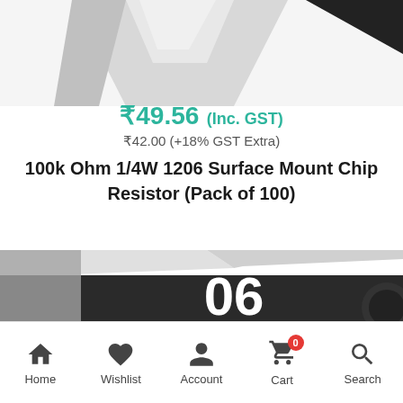[Figure (photo): Partial top view of a surface mount chip resistor component, showing grey/white plastic body with black label area, cropped at top of page]
₹49.56 (Inc. GST)
₹42.00 (+18% GST Extra)
100k Ohm 1/4W 1206 Surface Mount Chip Resistor (Pack of 100)
[Figure (photo): Bottom portion of product packaging box: dark/black box with white large number '06' visible, grey/white lid, circular dark element visible at right edge]
Home  Wishlist  Account  Cart  Search